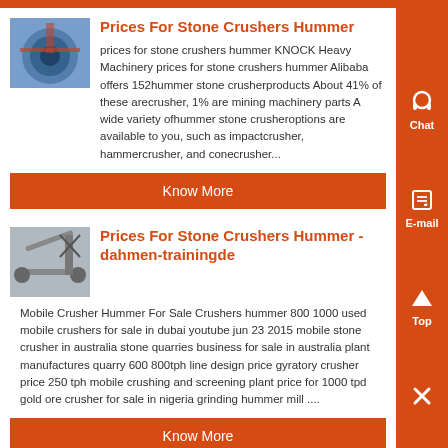Prices For Stone Crushers Hummer
prices for stone crushers hummer KNOCK Heavy Machinery prices for stone crushers hummer Alibaba offers 152hummer stone crusherproducts About 41% of these arecrusher, 1% are mining machinery parts A wide variety ofhummer stone crusheroptions are available to you, such as impactcrusher, hammercrusher, and conecrusher...
Know More
Prices For Stone Crushers Hummer - dahmen-trainingde
Mobile Crusher Hummer For Sale Crushers hummer 800 1000 used mobile crushers for sale in dubai youtube jun 23 2015 mobile stone crusher in australia stone quarries business for sale in australia plant manufactures quarry 600 800tph line design price gyratory crusher price 250 tph mobile crushing and screening plant price for 1000 tpd gold ore crusher for sale in nigeria grinding hummer mill ....
Know More